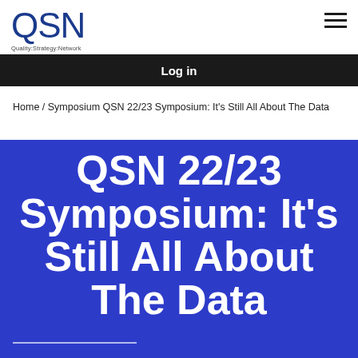QSN Quality:Strategy:Network
Log in
Home / Symposium QSN 22/23 Symposium: It’s Still All About The Data
QSN 22/23 Symposium: It’s Still All About The Data